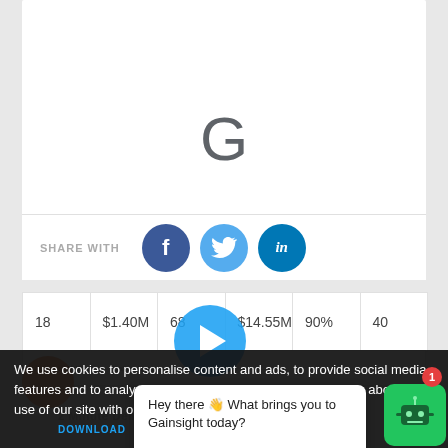[Figure (logo): Google 'G' logo centered in white card area]
SHARE WITH
[Figure (infographic): Social share buttons: Facebook, Twitter, LinkedIn]
| 18 | $1.40M | 68 | $14.55M | 90% | 40 |
| --- | --- | --- | --- | --- | --- |
[Figure (screenshot): Health Status dashboard screenshot with play button overlay]
We use cookies to personalise content and ads, to provide social media features and to analyse our traffic. We also share information about your use of our site with our social media, advertising and
[Figure (infographic): Chatbot UI with message: Hey there 👋 What brings you to Gainsight today?]
DOWNLOAD